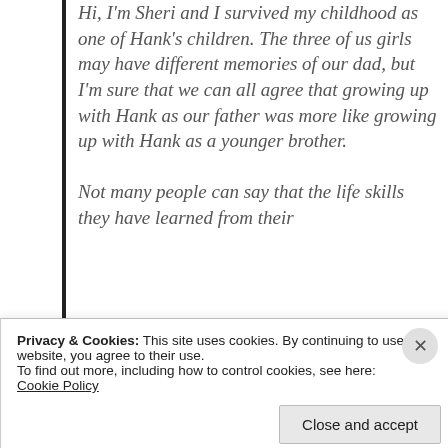Hi, I'm Sheri and I survived my childhood as one of Hank's children. The three of us girls may have different memories of our dad, but I'm sure that we can all agree that growing up with Hank as our father was more like growing up with Hank as a younger brother.

Not many people can say that the life skills they have learned from their
Privacy & Cookies: This site uses cookies. By continuing to use this website, you agree to their use.
To find out more, including how to control cookies, see here: Cookie Policy
Close and accept